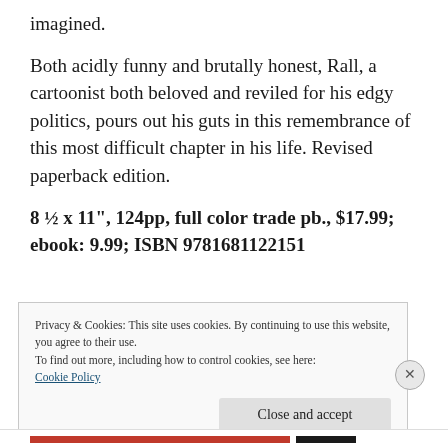imagined.
Both acidly funny and brutally honest, Rall, a cartoonist both beloved and reviled for his edgy politics, pours out his guts in this remembrance of this most difficult chapter in his life. Revised paperback edition.
8 ½ x 11", 124pp, full color trade pb., $17.99; ebook: 9.99; ISBN 9781681122151
Privacy & Cookies: This site uses cookies. By continuing to use this website, you agree to their use.
To find out more, including how to control cookies, see here:
Cookie Policy
Close and accept